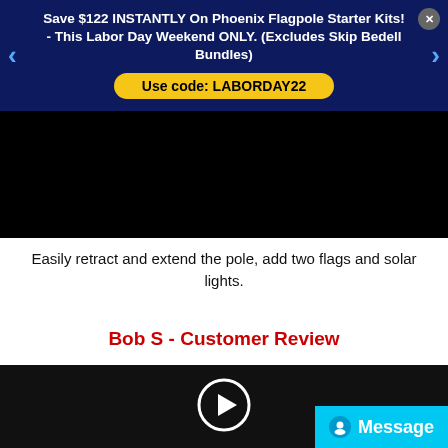Save $122 INSTANTLY On Phoenix Flagpole Starter Kits! - This Labor Day Weekend ONLY. (Excludes Skip Bedell Bundles)
Use code: LABORDAY22
[Figure (photo): Black video thumbnail area (top)]
Easily retract and extend the pole, add two flags and solar lights.
Bob S - Customer Review
[Figure (screenshot): Black video thumbnail with circular play button overlay and Message chat button in bottom right]